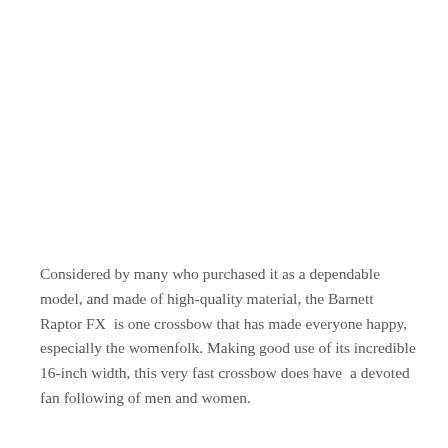Considered by many who purchased it as a dependable model, and made of high-quality material, the Barnett Raptor FX  is one crossbow that has made everyone happy, especially the womenfolk. Making good use of its incredible 16-inch width, this very fast crossbow does have  a devoted fan following of men and women.